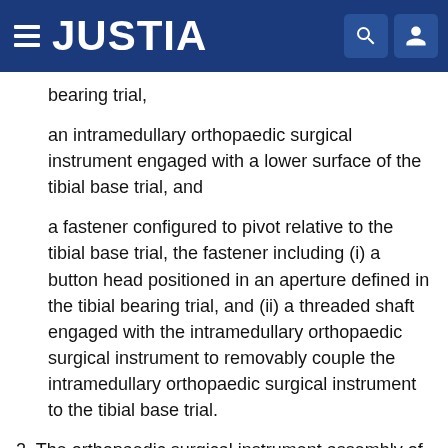JUSTIA
bearing trial,
an intramedullary orthopaedic surgical instrument engaged with a lower surface of the tibial base trial, and
a fastener configured to pivot relative to the tibial base trial, the fastener including (i) a button head positioned in an aperture defined in the tibial bearing trial, and (ii) a threaded shaft engaged with the intramedullary orthopaedic surgical instrument to removably couple the intramedullary orthopaedic surgical instrument to the tibial base trial.
2. The orthopaedic surgical instrument assembly of claim 1, wherein the intramedullary orthopaedic surgical instrument includes a broach engaged with the